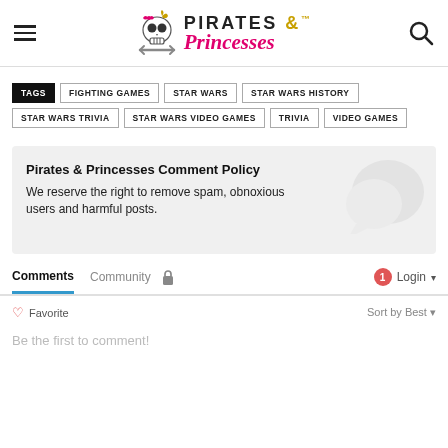Pirates & Princesses
TAGS | FIGHTING GAMES | STAR WARS | STAR WARS HISTORY | STAR WARS TRIVIA | STAR WARS VIDEO GAMES | TRIVIA | VIDEO GAMES
Pirates & Princesses Comment Policy
We reserve the right to remove spam, obnoxious users and harmful posts.
Comments   Community   🔒   1  Login ▾
♡ Favorite   Sort by Best ▾
Be the first to comment!